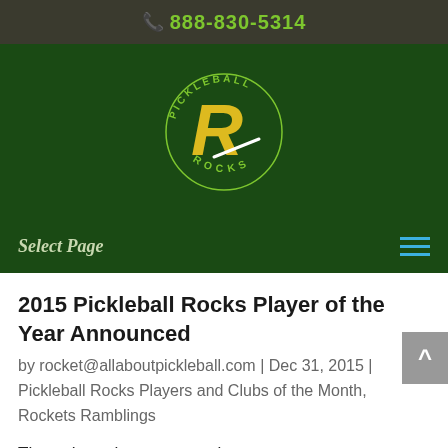📞 888-830-5314
[Figure (logo): Pickleball Rocks logo — circular text reading PICKLEBALL ROCKS around a stylized yellow R with a white swoosh, on dark green background]
Select Page
2015 Pickleball Rocks Player of the Year Announced
by rocket@allaboutpickleball.com | Dec 31, 2015 | Pickleball Rocks Players and Clubs of the Month, Rockets Ramblings
Throughout the year, people use NominateAPlayer.com to tell us all about their favorite players.  Many times they tell us